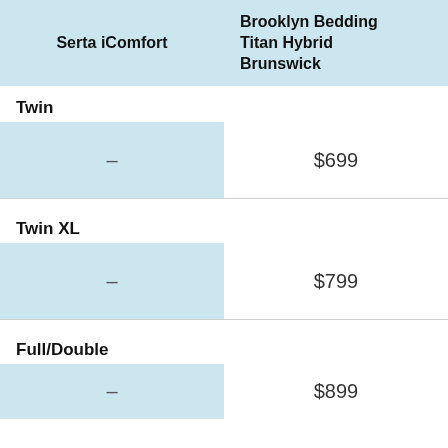| Serta iComfort | Brooklyn Bedding Titan Hybrid Brunswick |
| --- | --- |
| Twin |  |
| - | $699 |
| Twin XL |  |
| - | $799 |
| Full/Double |  |
| - | $899 |